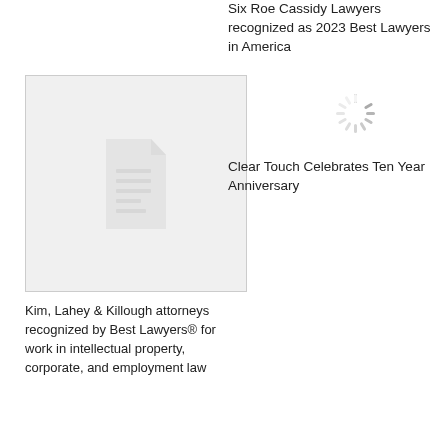Six Roe Cassidy Lawyers recognized as 2023 Best Lawyers in America
[Figure (illustration): Document/article placeholder image with a document icon on a gray diagonal-striped background]
[Figure (other): Loading spinner icon (circular, gray)]
Clear Touch Celebrates Ten Year Anniversary
Kim, Lahey & Killough attorneys recognized by Best Lawyers® for work in intellectual property, corporate, and employment law